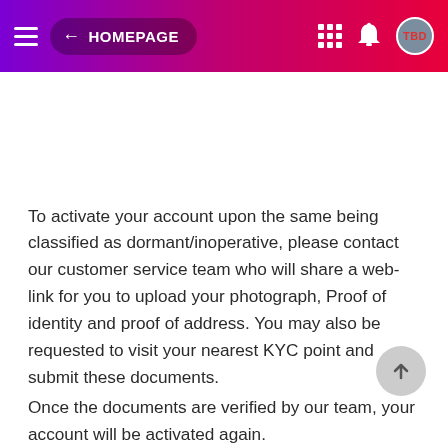← HOMEPAGE
To activate your account upon the same being classified as dormant/inoperative, please contact our customer service team who will share a web-link for you to upload your photograph, Proof of identity and proof of address. You may also be requested to visit your nearest KYC point and submit these documents.
Once the documents are verified by our team, your account will be activated again.